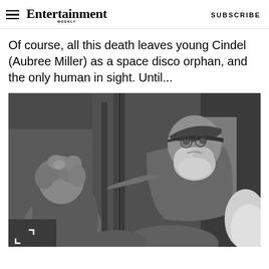Entertainment Weekly — SUBSCRIBE
Of course, all this death leaves young Cindel (Aubree Miller) as a space disco orphan, and the only human in sight. Until...
[Figure (photo): Black and white film still showing a young girl with curly hair seen from behind, facing an older bearded man wearing a cap, in a rustic wooden setting]